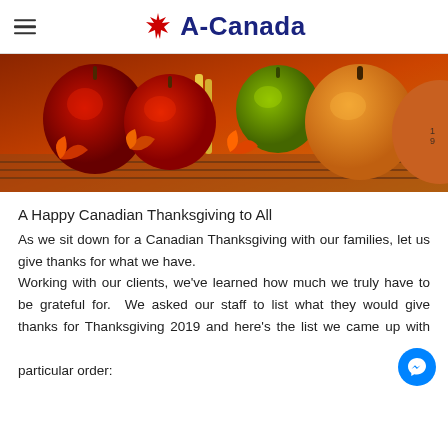A-Canada
[Figure (photo): Autumn harvest photo showing red apples, green apples, corn, orange pumpkin, and fall leaves arranged on a surface.]
A Happy Canadian Thanksgiving to All
As we sit down for a Canadian Thanksgiving with our families, let us give thanks for what we have. Working with our clients, we've learned how much we truly have to be grateful for.  We asked our staff to list what they would give thanks for Thanksgiving 2019 and here's the list we came up with no particular order: